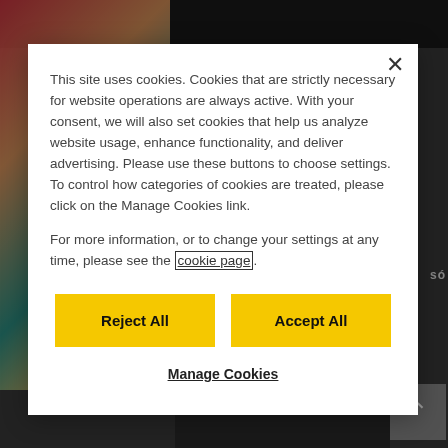[Figure (screenshot): Dark background of a website (TV Pokémon page) partially visible behind a cookie consent modal dialog. The background shows a colorful image on the left, dark sections, and 'TV Pokémon' text at the bottom.]
This site uses cookies. Cookies that are strictly necessary for website operations are always active. With your consent, we will also set cookies that help us analyze website usage, enhance functionality, and deliver advertising. Please use these buttons to choose settings. To control how categories of cookies are treated, please click on the Manage Cookies link.
For more information, or to change your settings at any time, please see the cookie page.
Reject All
Accept All
Manage Cookies
TV Pokémon